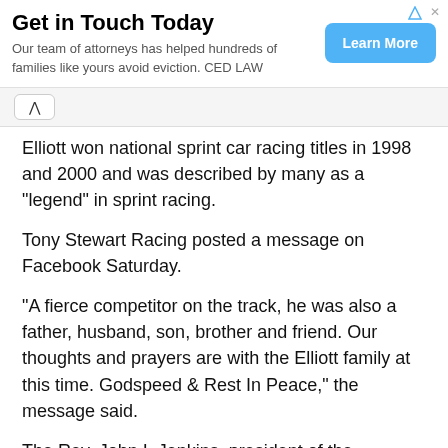[Figure (other): Advertisement banner: 'Get in Touch Today' from CED LAW with a 'Learn More' button]
Elliott won national sprint car racing titles in 1998 and 2000 and was described by many as a "legend" in sprint racing.
Tony Stewart Racing posted a message on Facebook Saturday.
"A fierce competitor on the track, he was also a father, husband, son, brother and friend. Our thoughts and prayers are with the Elliott family at this time. Godspeed & Rest In Peace," the message said.
The Rev. John I. Jenkins, president of the University of Notre Dame, issued a statement Saturday afternoon regarding the loss of Smith. "Charlie Smith was a beloved coach and revered business and civic leader who was also a devoted